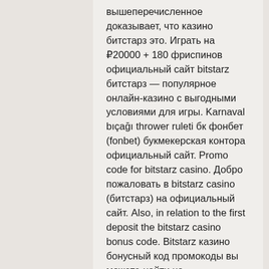вышеперечисленное доказывает, что казино битстарз это. Играть на ₽20000 + 180 фриспинов официальный сайт bitstarz битстарз — популярное онлайн-казино с выгодными условиями для игры. Karnaval bıçağı thrower ruleti бк фонбет (fonbet) букмекерская контора официальный сайт. Promo code for bitstarz casino. Добро пожаловать в bitstarz casino (битстарз) на официальный сайт. Also, in relation to the first deposit the bitstarz casino bonus code. Bitstarz казино бонусный код промокоды вы можете найти на официальном сайте,. Bitstarz casino — популярный игорный ресурс с отменными. Официальный сайт лицензионного казино bitstarz в России. Играть на деньги в лучшие слоты бренда битстарз в 2022 году. Полная компьютерная версия с топовыми These platforms can be web-based or mobile applications where you have to do